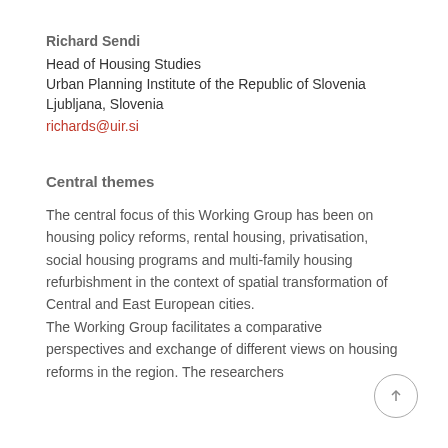Richard Sendi
Head of Housing Studies
Urban Planning Institute of the Republic of Slovenia
Ljubljana, Slovenia
richards@uir.si
Central themes
The central focus of this Working Group has been on housing policy reforms, rental housing, privatisation, social housing programs and multi-family housing refurbishment in the context of spatial transformation of Central and East European cities.
The Working Group facilitates a comparative perspectives and exchange of different views on housing reforms in the region. The researchers